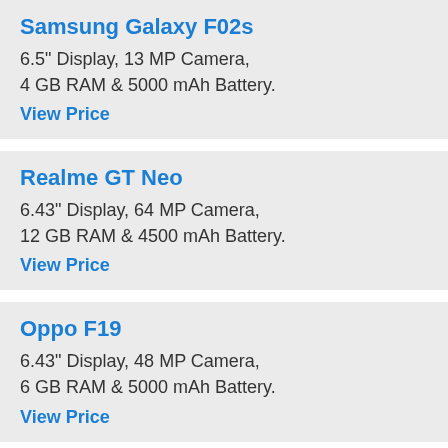Samsung Galaxy F02s
6.5" Display, 13 MP Camera, 4 GB RAM & 5000 mAh Battery.
View Price
Realme GT Neo
6.43" Display, 64 MP Camera, 12 GB RAM & 4500 mAh Battery.
View Price
Oppo F19
6.43" Display, 48 MP Camera, 6 GB RAM & 5000 mAh Battery.
View Price
Oppo Reno5 Z
6.43" Display, 48 MP Camera, 8 GB RAM & 4310 mAh Battery.
View Price